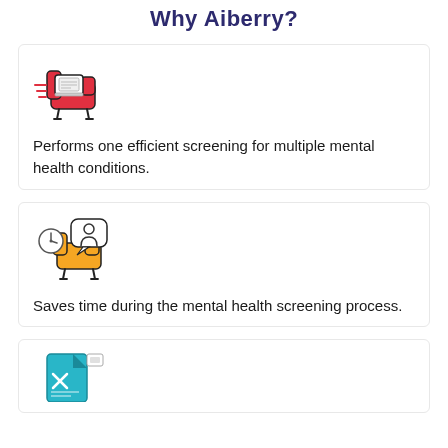Why Aiberry?
[Figure (illustration): Red armchair icon with a white laptop/screen on it, representing a therapy or mental health screening session]
Performs one efficient screening for multiple mental health conditions.
[Figure (illustration): Yellow armchair with a white speech bubble showing a person icon, and a clock, representing mental health screening session saving time]
Saves time during the mental health screening process.
[Figure (illustration): Teal/blue document or report icon with an X mark, partially visible at bottom of page]